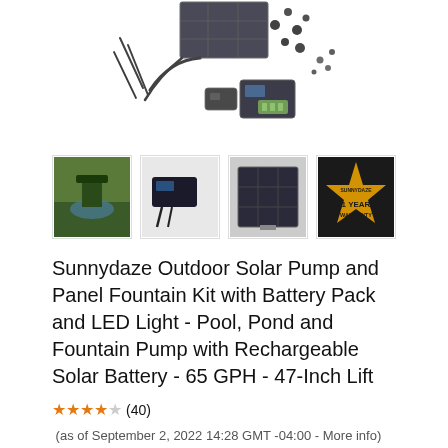[Figure (photo): Product photo of Sunnydaze Outdoor Solar Pump and Panel Fountain Kit — shows various components including solar panel, cables, spray heads, and accessories]
[Figure (photo): Four product thumbnail images: 1) outdoor garden pond scene, 2) pump/accessories close-up, 3) solar panel front view, 4) 1-Year Warranty badge on black background]
Sunnydaze Outdoor Solar Pump and Panel Fountain Kit with Battery Pack and LED Light - Pool, Pond and Fountain Pump with Rechargeable Solar Battery - 65 GPH - 47-Inch Lift
(40)  (as of September 2, 2022 14:28 GMT -04:00 - More info)  Overall dimensions: 9 inch long x 7.5 inch wide. Kit includes 6 spray heads and 2-inch extension tubes for up to 47-inch high jets Features: The included LED light turns on/off at night automatically Solar powered: The solar with battery backup techn... read more
Sunnydaze Decor Two-Tone Staggered Basins Polyresin Outdoor Water Fountain, 28-Inch